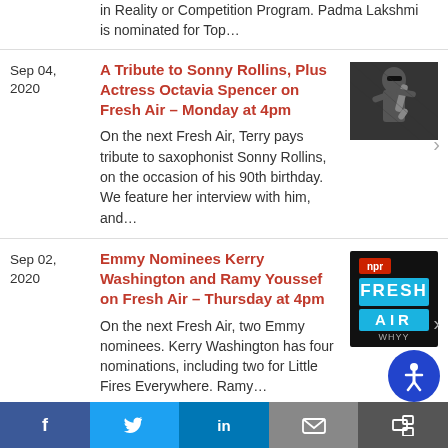in Reality or Competition Program. Padma Lakshmi is nominated for Top…
Sep 04, 2020
A Tribute to Sonny Rollins, Plus Actress Octavia Spencer on Fresh Air – Monday at 4pm
On the next Fresh Air, Terry pays tribute to saxophonist Sonny Rollins, on the occasion of his 90th birthday. We feature her interview with him, and…
[Figure (photo): Black and white photo of Sonny Rollins playing saxophone]
Sep 02, 2020
Emmy Nominees Kerry Washington and Ramy Youssef on Fresh Air – Thursday at 4pm
On the next Fresh Air, two Emmy nominees. Kerry Washington has four nominations, including two for Little Fires Everywhere. Ramy…
[Figure (logo): NPR Fresh Air WHYY logo on black background]